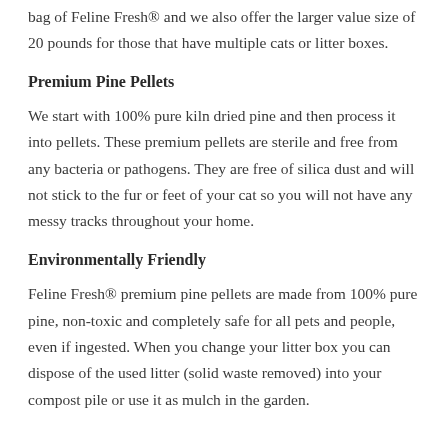bag of Feline Fresh® and we also offer the larger value size of 20 pounds for those that have multiple cats or litter boxes.
Premium Pine Pellets
We start with 100% pure kiln dried pine and then process it into pellets. These premium pellets are sterile and free from any bacteria or pathogens. They are free of silica dust and will not stick to the fur or feet of your cat so you will not have any messy tracks throughout your home.
Environmentally Friendly
Feline Fresh® premium pine pellets are made from 100% pure pine, non-toxic and completely safe for all pets and people, even if ingested. When you change your litter box you can dispose of the used litter (solid waste removed) into your compost pile or use it as mulch in the garden.